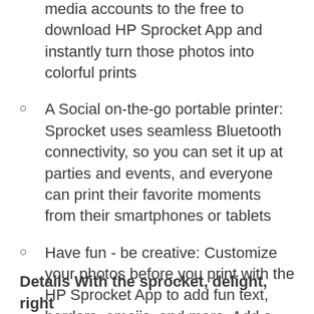media accounts to the free to download HP Sprocket App and instantly turn those photos into colorful prints
A Social on-the-go portable printer: Sprocket uses seamless Bluetooth connectivity, so you can set it up at parties and events, and everyone can print their favorite moments from their smartphones or tablets
Have fun - be creative: Customize your photos before you print with the HP Sprocket App to add fun text, borders, emojis, and more. Add a pop of personality for snapshots and stickers that are totally and uniquely you
Details With the sprocket, delight, right...